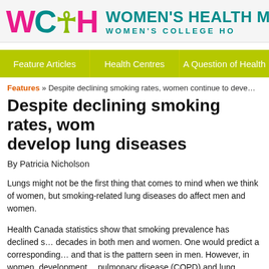[Figure (logo): WCH Women's Health Matters, Women's College Hospital logo with teal, pink, and olive-green colors]
Feature Articles | Health Centres | A Question of Health
Features » Despite declining smoking rates, women continue to develop lung diseases
Despite declining smoking rates, women continue to develop lung diseases
By Patricia Nicholson
Lungs might not be the first thing that comes to mind when we think of women, but smoking-related lung diseases do affect men and women.
Health Canada statistics show that smoking prevalence has declined steadily over decades in both men and women. One would predict a corresponding decline, and that is the pattern seen in men. However, in women, development of chronic obstructive pulmonary disease (COPD) and lung cancer is actually increasing.